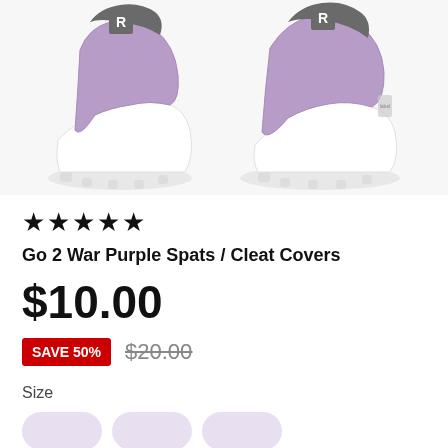[Figure (photo): Two purple and white football cleat covers / spats shown side by side on white cleats. Each has a bold 'R' logo on top in white on a dark grey background.]
★★★★★
Go 2 War Purple Spats / Cleat Covers
$10.00
SAVE 50%  $20.00
Size